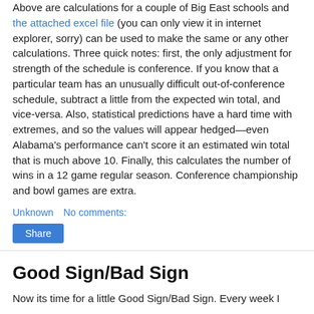Above are calculations for a couple of Big East schools and the attached excel file (you can only view it in internet explorer, sorry) can be used to make the same or any other calculations. Three quick notes: first, the only adjustment for strength of the schedule is conference. If you know that a particular team has an unusually difficult out-of-conference schedule, subtract a little from the expected win total, and vice-versa. Also, statistical predictions have a hard time with extremes, and so the values will appear hedged—even Alabama's performance can't score it an estimated win total that is much above 10. Finally, this calculates the number of wins in a 12 game regular season. Conference championship and bowl games are extra.
Unknown   No comments:
Share
Good Sign/Bad Sign
Now its time for a little Good Sign/Bad Sign. Every week I